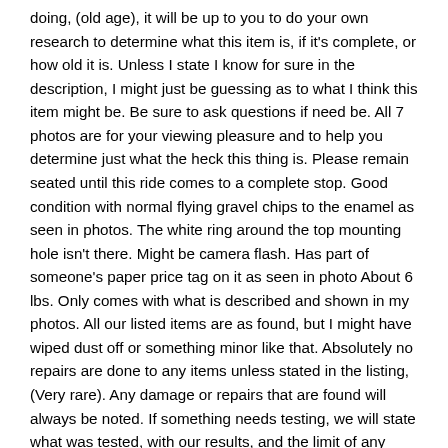doing, (old age), it will be up to you to do your own research to determine what this item is, if it's complete, or how old it is. Unless I state I know for sure in the description, I might just be guessing as to what I think this item might be. Be sure to ask questions if need be. All 7 photos are for your viewing pleasure and to help you determine just what the heck this thing is. Please remain seated until this ride comes to a complete stop. Good condition with normal flying gravel chips to the enamel as seen in photos. The white ring around the top mounting hole isn't there. Might be camera flash. Has part of someone's paper price tag on it as seen in photo About 6 lbs. Only comes with what is described and shown in my photos. All our listed items are as found, but I might have wiped dust off or something minor like that. Absolutely no repairs are done to any items unless stated in the listing, (Very rare). Any damage or repairs that are found will always be noted. If something needs testing, we will state what was tested, with our results, and the limit of any testing done. Please don't hesitate to ask ANY questions whether it be about PRICE, condition, etc. We strive for you to enjoy your shopping with us. This item is in the category "Collectibles\Transportation\Signs". The seller is